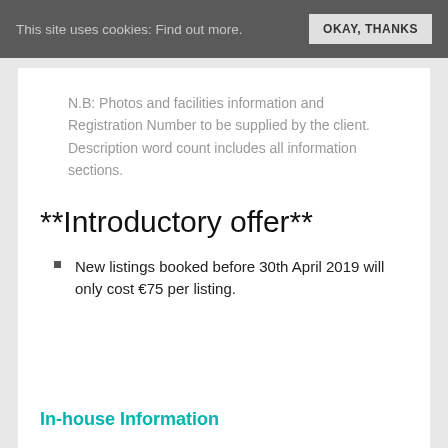This site uses cookies: Find out more.   OKAY, THANKS
N.B: Photos and facilities information and Registration Number to be supplied by the client. Description word count includes all information sections.
**Introductory offer**
New listings booked before 30th April 2019 will only cost €75 per listing.
In-house Information